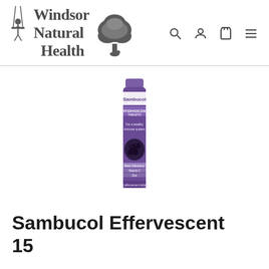[Figure (logo): Windsor Natural Health logo with tree illustration and swing figure, accompanied by navigation icons (search, account, cart, menu)]
[Figure (photo): Sambucol Effervescent 15 tablet tube product image — purple cylindrical tube with elderberry imagery and branding]
Sambucol Effervescent 15